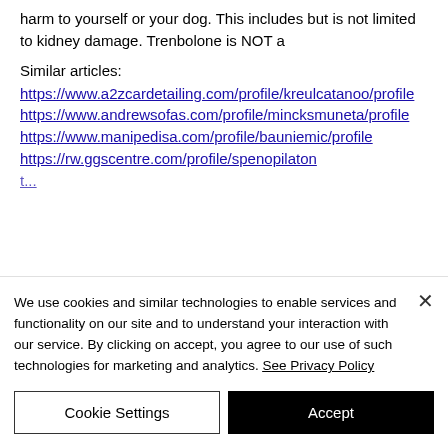harm to yourself or your dog. This includes but is not limited to kidney damage. Trenbolone is NOT a
Similar articles:
https://www.a2zcardetailing.com/profile/kreulcatanoo/profile
https://www.andrewsofas.com/profile/mincksmuneta/profile
https://www.manipedisa.com/profile/bauniemic/profile
https://rw.ggscentre.com/profile/spenopilaton...
We use cookies and similar technologies to enable services and functionality on our site and to understand your interaction with our service. By clicking on accept, you agree to our use of such technologies for marketing and analytics. See Privacy Policy
Cookie Settings | Accept